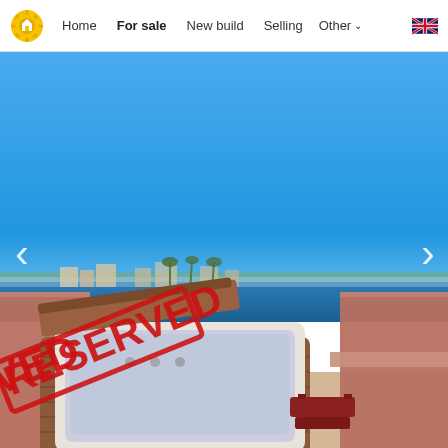Home | For sale | New build | Selling | Other | [UK flag]
[Figure (photo): Rooftop terrace with a large hot tub/jacuzzi, terracotta-coloured walls, overlooking a coastal town with ocean and blue sky in the background. A red diagonal 'RESERVED' stamp is overlaid in the bottom-left corner. Navigation arrows are visible on the left and right sides of the image.]